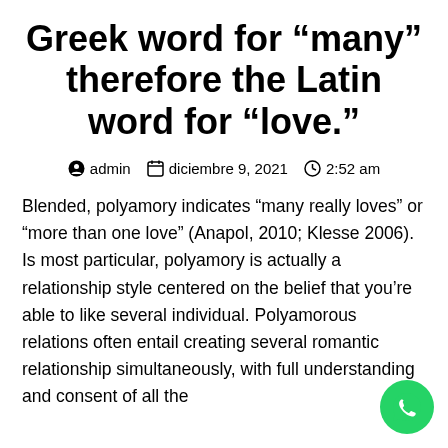Greek word for “many” therefore the Latin word for “love.”
admin   diciembre 9, 2021   2:52 am
Blended, polyamory indicates “many really loves” or “more than one love” (Anapol, 2010; Klesse 2006). Is most particular, polyamory is actually a relationship style centered on the belief that you’re able to like several individual. Polyamorous relations often entail creating several romantic relationship simultaneously, with full understanding and consent of all the